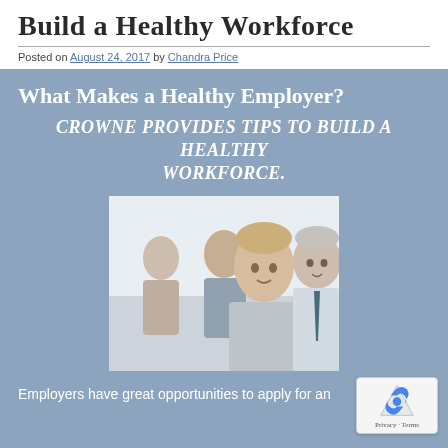Build a Healthy Workforce
Posted on August 24, 2017 by Chandra Price
What Makes a Healthy Employer?
Crowne provides tips to build a healthy workforce.
[Figure (photo): Group of business professionals looking upward, including a young blonde man in foreground, other colleagues behind him, and an older man in a tie on the right.]
Employers have great opportunities to apply for an